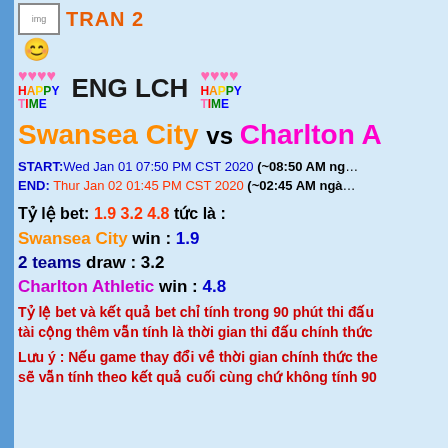TRAN 2
[Figure (illustration): Happy Time decorative graphic with hearts and colorful text, flanking ENG LCH label]
Swansea City vs Charlton Athletic
START: Wed Jan 01 07:50 PM CST 2020 (~08:50 AM ngày...)
END: Thur Jan 02 01:45 PM CST 2020 (~02:45 AM ngày...)
Tỷ lệ bet: 1.9 3.2 4.8 tức là :
Swansea City win : 1.9
2 teams draw : 3.2
Charlton Athletic win : 4.8
Tỷ lệ bet và kết quả bet chỉ tính trong 90 phút thi đấu tài cộng thêm vẫn tính là thời gian thi đấu chính thức
Lưu ý : Nếu game thay đổi về thời gian chính thức the sẽ vẫn tính theo kết quả cuối cùng chứ không tính 90